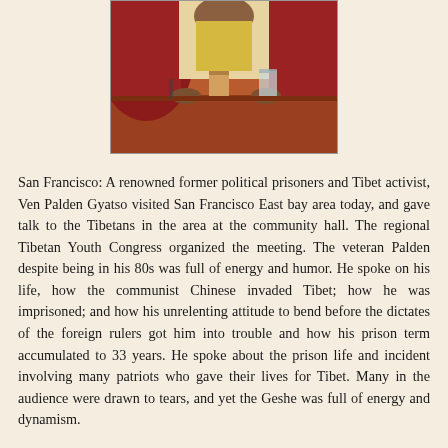[Figure (photo): Photo of Ven Palden Gyatso seated at a table, wearing maroon and yellow Tibetan Buddhist robes, at a community hall gathering.]
San Francisco: A renowned former political prisoners and Tibet activist, Ven Palden Gyatso visited San Francisco East bay area today, and gave talk to the Tibetans in the area at the community hall. The regional Tibetan Youth Congress organized the meeting. The veteran Palden despite being in his 80s was full of energy and humor. He spoke on his life, how the communist Chinese invaded Tibet; how he was imprisoned; and how his unrelenting attitude to bend before the dictates of the foreign rulers got him into trouble and how his prison term accumulated to 33 years. He spoke about the prison life and incident involving many patriots who gave their lives for Tibet. Many in the audience were drawn to tears, and yet the Geshe was full of energy and dynamism.
Palden Gyatso, born in 1932, was imprisoned during 1959 uprising against the Chinese occupation of Tibet. He underwent numerous